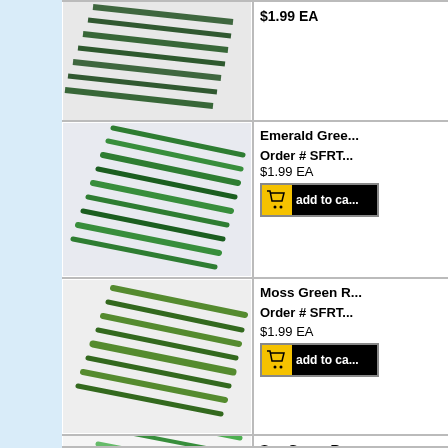[Figure (photo): Dark green glass rods bundled together (top partial row)]
$1.99 EA
[Figure (photo): Emerald green glass rods bundled together]
Emerald Green Ro...
Order # SFRT...
$1.99 EA
[Figure (photo): Moss green glass rods bundled together]
Moss Green R...
Order # SFRT...
$1.99 EA
[Figure (photo): Sea green glass rods bundled together (partial bottom row)]
Sea Green Ro...
Order # SFRT...
$1.99 EA